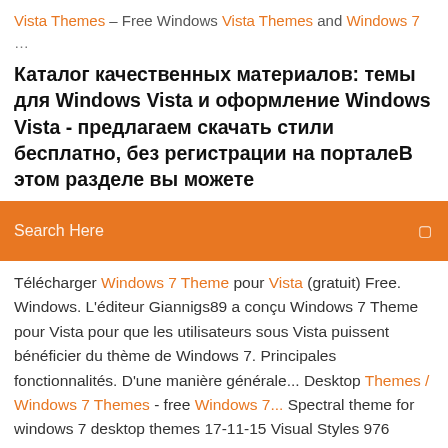Vista Themes – Free Windows Vista Themes and Windows 7
…
Каталог качественных материалов: темы для Windows Vista и оформление Windows Vista - предлагаем скачать стили бесплатно, без регистрации на порталеВ этом разделе вы можете
[Figure (screenshot): Orange search bar with text 'Search Here' and a small icon on the right]
Télécharger Windows 7 Theme pour Vista (gratuit) Free. Windows. L'éditeur Giannigs89 a conçu Windows 7 Theme pour Vista pour que les utilisateurs sous Vista puissent bénéficier du thème de Windows 7. Principales fonctionnalités. D'une manière générale... Desktop Themes / Windows 7 Themes - free Windows 7... Spectral theme for windows 7 desktop themes 17-11-15 Visual Styles 976 Views Click / 10 Digg. Spectral theme for windows 7 desktop themes Dedicated to DragonianFantasy as this is a theme based on her ideas concepts.... 10 Best